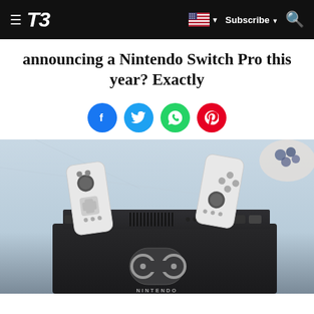T3 — Subscribe
announcing a Nintendo Switch Pro this year? Exactly
[Figure (illustration): Social sharing buttons: Facebook, Twitter, WhatsApp, Pinterest]
[Figure (photo): Nintendo Switch OLED model shown from behind in its dock on a marble surface, with white Joy-Con controllers detached and leaning against it. Nintendo Switch logo visible on dock.]